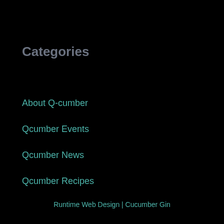Categories
About Q-cumber
Qcumber Events
Qcumber News
Qcumber Recipes
Runtime Web Design | Cucumber Gin